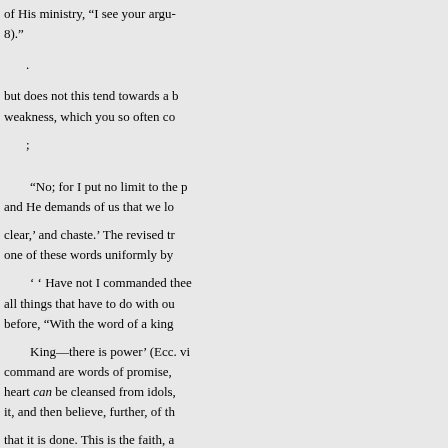of His ministry, “I see your argu 8).”
·
but does not this tend towards a b weakness, which you so often co
;
“No; for I put no limit to the p and He demands of us that we lo
clear,’ and chaste.’ The revised tr one of these words uniformly by
‘ ‘ Have not I commanded thee all things that have to do with ou before, “With the word of a king
King—there is power’ (Ecc. vi command are words of promise, heart can be cleansed from idols, it, and then believe, further, of th
that it is done. This is the faith, a watchfulness, which brings bless